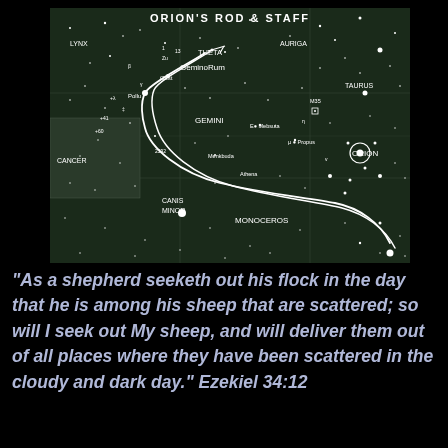[Figure (map): Star map showing constellation regions including Orion, Gemini, Taurus, Auriga, Cancer, Canis Minor, Monoceros, and Lynx. Title reads 'ORION'S ROD & STAFF'. White curved lines trace a path through the star field, illustrating Orion's Rod and Staff. Various star names labeled including Theta, Geminorum, Pollux, Castor, Mebsuta, Propus, Menkbuda, Athena. Stars shown as white dots of varying sizes on dark background.]
“As a shepherd seeketh out his flock in the day that he is among his sheep that are scattered; so will I seek out My sheep, and will deliver them out of all places where they have been scattered in the cloudy and dark day.” Ezekiel 34:12